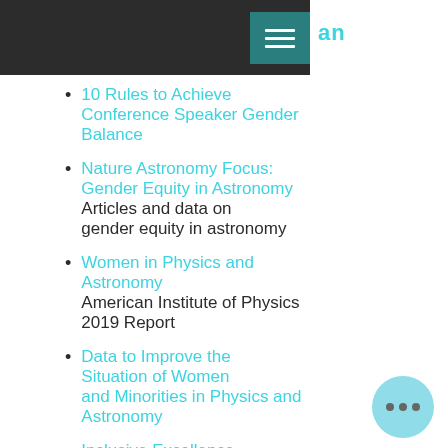an
10 Rules to Achieve Conference Speaker Gender Balance
Nature Astronomy Focus: Gender Equity in Astronomy — Articles and data on gender equity in astronomy
Women in Physics and Astronomy — American Institute of Physics 2019 Report
Data to Improve the Situation of Women and Minorities in Physics and Astronomy
Inclusive Excellence — Musings on Empowering Women in STEM